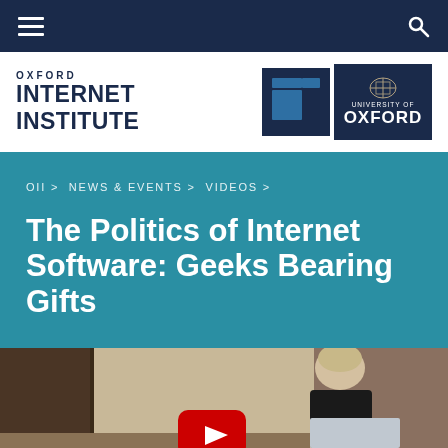Oxford Internet Institute — Navigation bar with hamburger menu and search icon
[Figure (logo): Oxford Internet Institute logo with OII square icon and University of Oxford crest on navy blue backgrounds]
OII > NEWS & EVENTS > VIDEOS >
The Politics of Internet Software: Geeks Bearing Gifts
[Figure (screenshot): Video thumbnail showing a person at a lectern in a seminar room with a YouTube play button overlay]